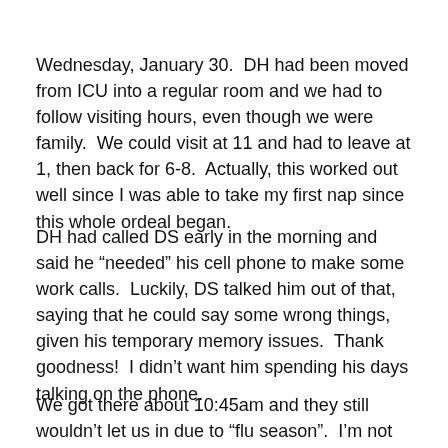Wednesday, January 30.  DH had been moved from ICU into a regular room and we had to follow visiting hours, even though we were family.  We could visit at 11 and had to leave at 1, then back for 6-8.  Actually, this worked out well since I was able to take my first nap since this whole ordeal began.
DH had called DS early in the morning and  said he “needed” his cell phone to make some work calls.  Luckily, DS talked him out of that, saying that he could say some wrong things, given his temporary memory issues.  Thank goodness!  I didn’t want him spending his days talking on the phone.
We got there about 10:45am and they still wouldn’t let us in due to “flu season”.  I’m not sure how we could give him